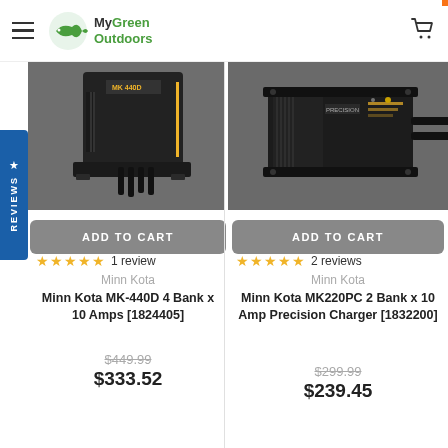MyGreen Outdoors
[Figure (photo): Minn Kota MK-440D 4 Bank battery charger, black device on stand]
[Figure (photo): Minn Kota MK220PC 2 Bank Precision Charger, black rectangular device with cables]
ADD TO CART
ADD TO CART
★★★★★ 1 review
★★★★★ 2 reviews
Minn Kota
Minn Kota
Minn Kota MK-440D 4 Bank x 10 Amps [1824405]
Minn Kota MK220PC 2 Bank x 10 Amp Precision Charger [1832200]
$449.99
$333.52
$299.99
$239.45